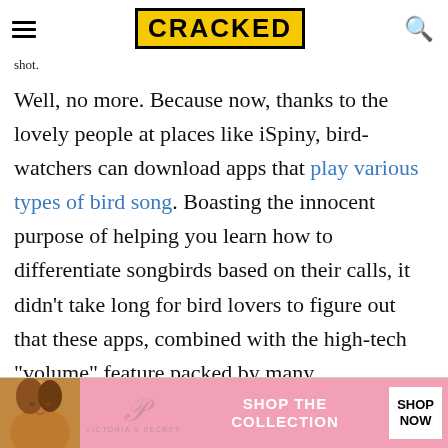CRACKED
shot.
Well, no more. Because now, thanks to the lovely people at places like iSpiny, bird-watchers can download apps that play various types of bird song. Boasting the innocent purpose of helping you learn how to differentiate songbirds based on their calls, it didn't take long for bird lovers to figure out that these apps, combined with the high-tech "volume" feature packed by many smartphones, doubled as the perfect way to say "Hold still a minute, you feathery little
[Figure (photo): Victoria's Secret advertisement banner with model, VS logo, 'SHOP THE COLLECTION' text and 'SHOP NOW' button]